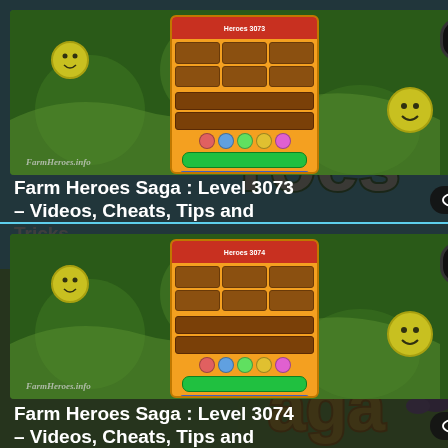[Figure (screenshot): Farm Heroes Saga game screenshot showing level 3073 with game UI overlay]
Farm Heroes Saga : Level 3073 – Videos, Cheats, Tips and Tricks
[Figure (screenshot): Farm Heroes Saga game screenshot showing level 3074 with game UI overlay]
Farm Heroes Saga : Level 3074 – Videos, Cheats, Tips and Tricks
[Figure (illustration): Farm Heroes Saga logo on right side with sky and grass background, showing rM, roes, aga text in green and yellow]